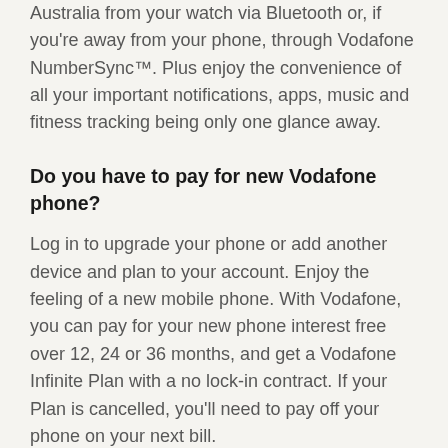Australia from your watch via Bluetooth or, if you're away from your phone, through Vodafone NumberSync™. Plus enjoy the convenience of all your important notifications, apps, music and fitness tracking being only one glance away.
Do you have to pay for new Vodafone phone?
Log in to upgrade your phone or add another device and plan to your account. Enjoy the feeling of a new mobile phone. With Vodafone, you can pay for your new phone interest free over 12, 24 or 36 months, and get a Vodafone Infinite Plan with a no lock-in contract. If your Plan is cancelled, you'll need to pay off your phone on your next bill.
What kind of network do I use with Vodafone?
In non-5G coverage areas, you'll use our 4G or 3G networks. Actual speeds vary due to location & network congestion. For updates and to check when 5G will be